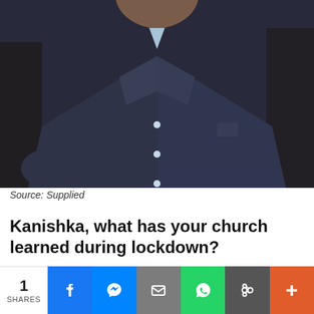[Figure (photo): A man wearing a dark navy blazer and light blue open-collar shirt, photographed from chest up against a dark background.]
Source: Supplied
Kanishka, what has your church learned during lockdown?
1 SHARES | Facebook | Messenger | Email | WhatsApp | Link | More